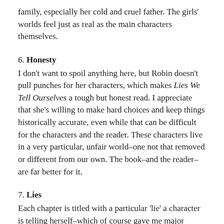family, especially her cold and cruel father. The girls' worlds feel just as real as the main characters themselves.
6. Honesty
I don't want to spoil anything here, but Robin doesn't pull punches for her characters, which makes Lies We Tell Ourselves a tough but honest read. I appreciate that she's willing to make hard choices and keep things historically accurate, even while that can be difficult for the characters and the reader. These characters live in a very particular, unfair world–one not that removed or different from our own. The book–and the reader–are far better for it.
7. Lies
Each chapter is titled with a particular 'lie' a character is telling herself–which of course gave me major heartbreaking feels at the beginning of each chapter.
8. Chills